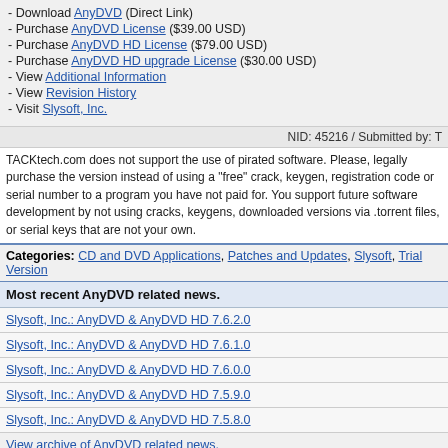- Download AnyDVD (Direct Link)
- Purchase AnyDVD License ($39.00 USD)
- Purchase AnyDVD HD License ($79.00 USD)
- Purchase AnyDVD HD upgrade License ($30.00 USD)
- View Additional Information
- View Revision History
- Visit Slysoft, Inc.
NID: 45216 / Submitted by: T
TACKtech.com does not support the use of pirated software. Please, legally purchase the version instead of using a "free" crack, keygen, registration code or serial number to a program you have not paid for. You support future software development by not using cracks, keygens, downloaded versions via .torrent files, or serial keys that are not your own.
Categories: CD and DVD Applications, Patches and Updates, Slysoft, Trial Version
Most recent AnyDVD related news.
Slysoft, Inc.: AnyDVD & AnyDVD HD 7.6.2.0
Slysoft, Inc.: AnyDVD & AnyDVD HD 7.6.1.0
Slysoft, Inc.: AnyDVD & AnyDVD HD 7.6.0.0
Slysoft, Inc.: AnyDVD & AnyDVD HD 7.5.9.0
Slysoft, Inc.: AnyDVD & AnyDVD HD 7.5.8.0
View archive of AnyDVD related news.
Digg del.icio.us Furl Google Bookmarks Yahoo! My Web AddT